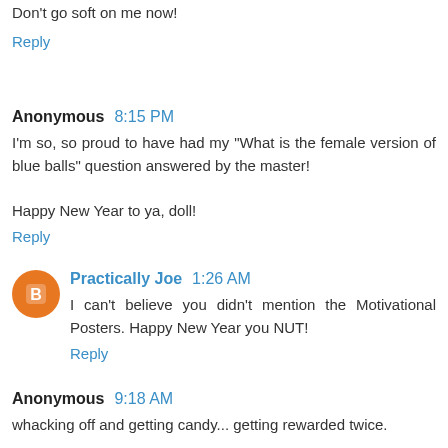Don't go soft on me now!
Reply
Anonymous 8:15 PM
I'm so, so proud to have had my "What is the female version of blue balls" question answered by the master!

Happy New Year to ya, doll!
Reply
Practically Joe 1:26 AM
I can't believe you didn't mention the Motivational Posters. Happy New Year you NUT!
Reply
Anonymous 9:18 AM
whacking off and getting candy... getting rewarded twice.